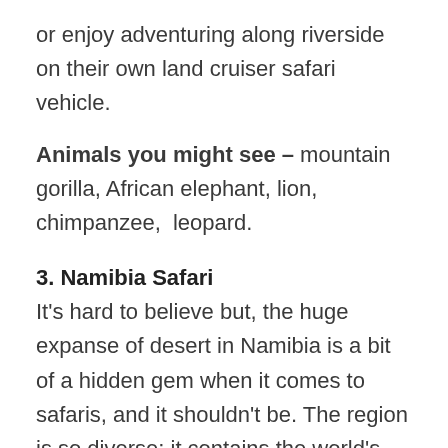or enjoy adventuring along riverside on their own land cruiser safari vehicle.
Animals you might see – mountain gorilla, African elephant, lion, chimpanzee,  leopard.
3. Namibia Safari
It's hard to believe but, the huge expanse of desert in Namibia is a bit of a hidden gem when it comes to safaris, and it shouldn't be. The region is so diverse; it contains the world's highest dunes, the second largest canyon, expansive salt pans, and grasslands. Expect to see so many spectacular sights in Etosha National Park and